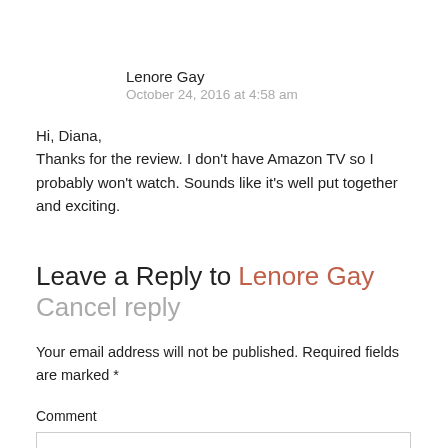Lenore Gay
October 24, 2016 at 4:58 am
Hi, Diana,
Thanks for the review. I don't have Amazon TV so I probably won't watch. Sounds like it's well put together and exciting.
Leave a Reply to Lenore Gay Cancel reply
Your email address will not be published. Required fields are marked *
Comment